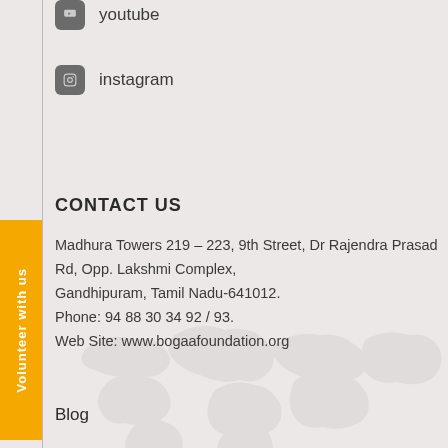youtube
instagram
CONTACT US
Madhura Towers 219 – 223, 9th Street, Dr Rajendra Prasad Rd, Opp. Lakshmi Complex, Gandhipuram, Tamil Nadu-641012.
Phone: 94 88 30 34 92 / 93.
Web Site: www.bogaafoundation.org
Volunteer with us
Blog